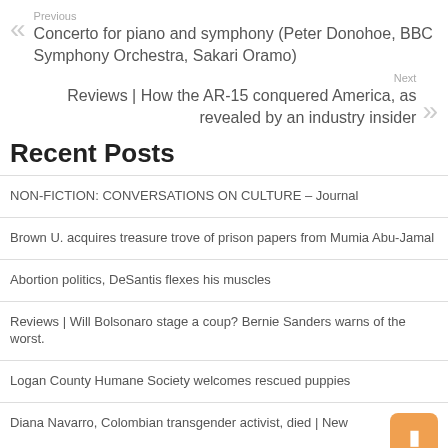Previous
Concerto for piano and symphony (Peter Donohoe, BBC Symphony Orchestra, Sakari Oramo)
Next
Reviews | How the AR-15 conquered America, as revealed by an industry insider
Recent Posts
NON-FICTION: CONVERSATIONS ON CULTURE – Journal
Brown U. acquires treasure trove of prison papers from Mumia Abu-Jamal
Abortion politics, DeSantis flexes his muscles
Reviews | Will Bolsonaro stage a coup? Bernie Sanders warns of the worst.
Logan County Humane Society welcomes rescued puppies
Diana Navarro, Colombian transgender activist, died | New